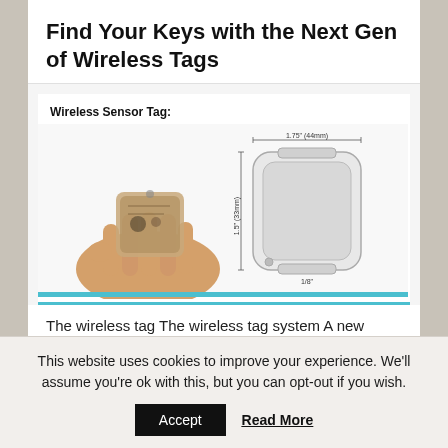Find Your Keys with the Next Gen of Wireless Tags
[Figure (photo): Product image showing a wireless sensor tag being held between fingers on the left, and a dimensioned diagram of the tag device on the right. Text overlay reads: 'Wireless Sensor Tag: Small, light, drop resistant and up to years of battery life'. Dimensions shown: 1.75 inch width, 1.5 inch (33mm) height, 1/8 inch thickness. Blue bar at bottom of image.]
The wireless tag The wireless tag system A new generation of wireless sensor tags that can notify your smartphone each time
This website uses cookies to improve your experience. We'll assume you're ok with this, but you can opt-out if you wish.
Accept
Read More